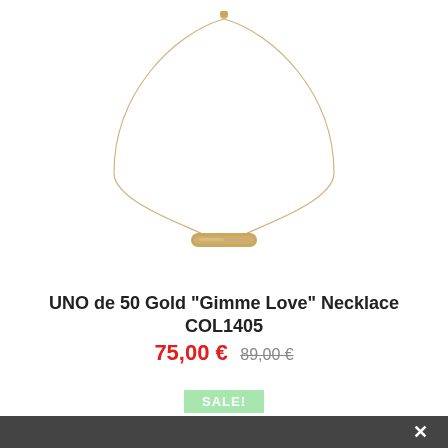[Figure (photo): Gold bar pendant necklace on a thin gold chain, shown on white background. A small clasp is visible at the top.]
UNO de 50 Gold "Gimme Love" Necklace COL1405
75,00 € 89,00 €
SALE!
[Figure (photo): Partial view of a second gold necklace, cropped at the bottom of the page, showing chain and top clasp.]